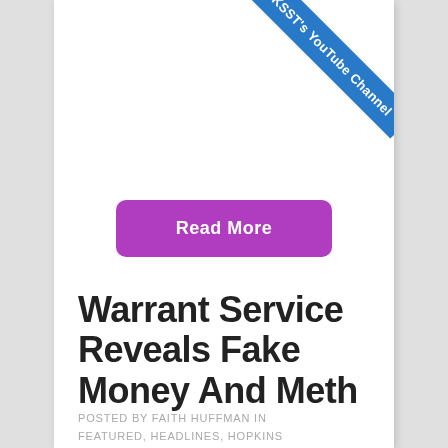[Figure (other): Blue diagonal ribbon banner in top-right corner reading KSST's YouTube Channel]
Read More
Warrant Service Reveals Fake Money And Meth
POSTED BY FAITH HUFFMAN IN FEATURED, HEADLINES, HOPKINS COUNTY NEWS, NEWS, SHERIFF'S